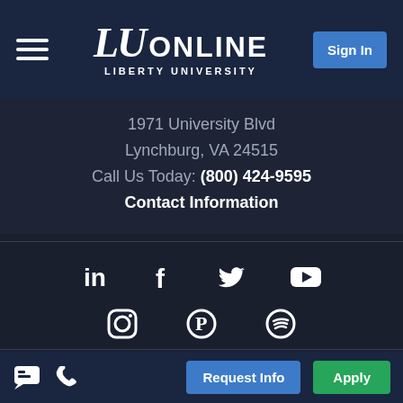LU ONLINE — LIBERTY UNIVERSITY
1971 University Blvd
Lynchburg, VA 24515
Call Us Today: (800) 424-9595
Contact Information
[Figure (infographic): Social media icons row 1: LinkedIn, Facebook, Twitter, YouTube]
[Figure (infographic): Social media icons row 2: Instagram, Pinterest, Spotify]
Chat icon, Phone icon, Request Info, Apply